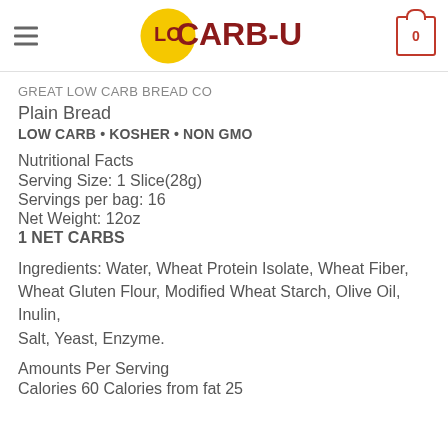LO CARB-U (logo with cart icon showing 0)
GREAT LOW CARB BREAD CO
Plain Bread
LOW CARB • KOSHER • NON GMO
Nutritional Facts
Serving Size: 1 Slice(28g)
Servings per bag: 16
Net Weight: 12oz
1 NET CARBS
Ingredients: Water, Wheat Protein Isolate, Wheat Fiber, Wheat Gluten Flour, Modified Wheat Starch, Olive Oil, Inulin, Salt, Yeast, Enzyme.
Amounts Per Serving
Calories 60 Calories from fat 25